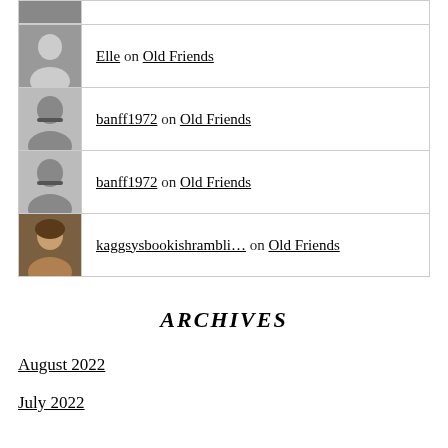Elle on Old Friends
banff1972 on Old Friends
banff1972 on Old Friends
kaggsysbookishrambli… on Old Friends
ARCHIVES
August 2022
July 2022